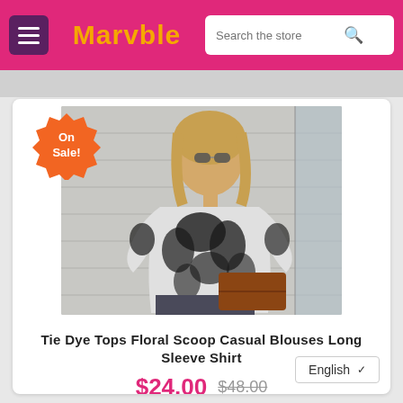Marvble
[Figure (photo): Woman wearing a black and white tie-dye long sleeve shirt with sunglasses, holding a brown leather clutch bag, standing against a stone wall. On Sale! badge overlaid on the image.]
Tie Dye Tops Floral Scoop Casual Blouses Long Sleeve Shirt
$24.00  $48.00